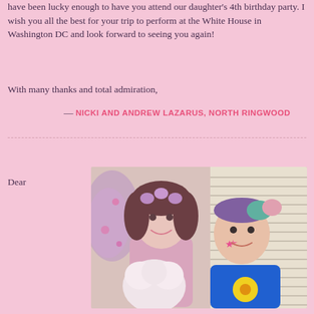have been lucky enough to have you attend our daughter's 4th birthday party. I wish you all the best for your trip to perform at the White House in Washington DC and look forward to seeing you again!
With many thanks and total admiration,
— NICKI AND ANDREW LAZARUS, NORTH RINGWOOD
Dear
[Figure (photo): A woman dressed as a fairy with purple flower headband and wings, smiling and posing with a young boy wearing a blue shirt with yellow flower design and a pink star painted on his cheek. The woman is holding a white fluffy stuffed animal.]